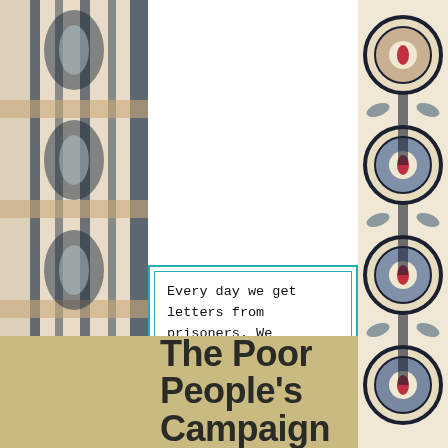[Figure (illustration): Decorative ikat/textile pattern strip on the left side of the page]
[Figure (illustration): Decorative ikat/textile pattern strip on the right side of the page]
Every day we get letters from prisoners. We advocate for their human rights, provide information and address their grievances. If you'd like to help, let us know! Contact justicebburg@gmail.com
The Poor People's Campaign